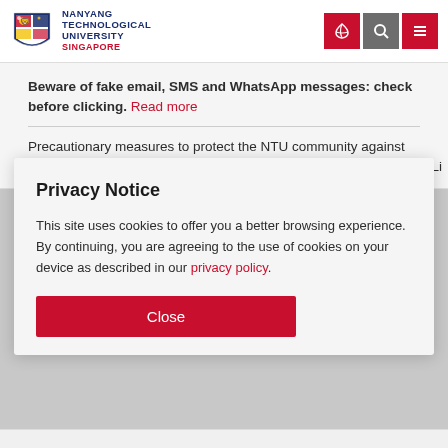[Figure (logo): Nanyang Technological University Singapore logo with shield and lion]
NANYANG TECHNOLOGICAL UNIVERSITY SINGAPORE
Beware of fake email, SMS and WhatsApp messages: check before clicking. Read more
Precautionary measures to protect the NTU community against COVID-19. Read the FAQ
Privacy Notice
This site uses cookies to offer you a better browsing experience. By continuing, you are agreeing to the use of cookies on your device as described in our privacy policy.
Close